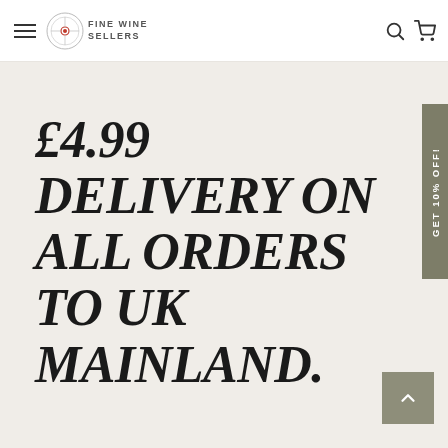[Figure (logo): Fine Wine Sellers logo with circular emblem and hamburger menu, search and cart icons in header]
£4.99 DELIVERY ON ALL ORDERS TO UK MAINLAND.
GET 10% OFF!
[Figure (illustration): Back to top arrow button, grey square with upward chevron]